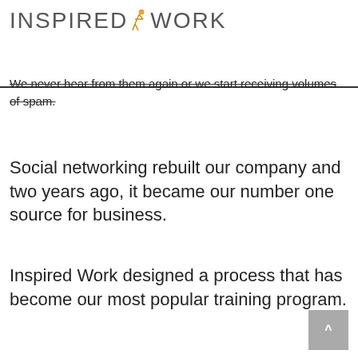INSPIREDWORK
We never hear from them again or we start receiving volumes of spam.
Social networking rebuilt our company and two years ago, it became our number one source for business.
Inspired Work designed a process that has become our most popular training program.